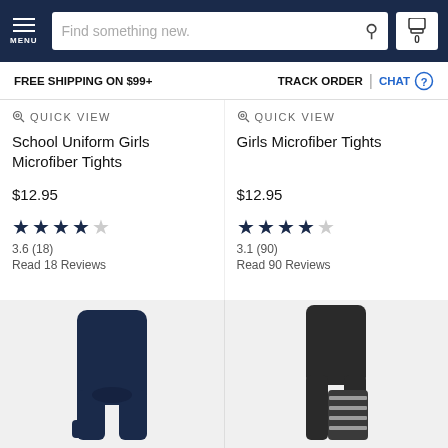MENU | Find something new. | 0
FREE SHIPPING ON $99+   TRACK ORDER | CHAT
QUICK VIEW
School Uniform Girls Microfiber Tights
$12.95
3.6 (18)
Read 18 Reviews
QUICK VIEW
Girls Microfiber Tights
$12.95
3.1 (90)
Read 90 Reviews
[Figure (photo): Navy blue girls tights folded product photo]
[Figure (photo): Dark striped girls tights product photo]